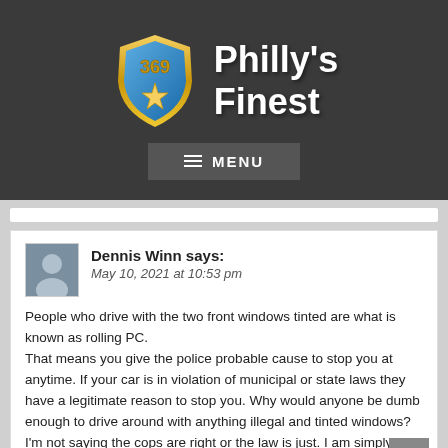[Figure (logo): Philly's Finest police badge logo with number 369 and star, site header with dark background]
MENU
Dennis Winn says:
May 10, 2021 at 10:53 pm

People who drive with the two front windows tinted are what is known as rolling PC.
That means you give the police probable cause to stop you at anytime. If your car is in violation of municipal or state laws they have a legitimate reason to stop you. Why would anyone be dumb enough to drive around with anything illegal and tinted windows?
I'm not saying the cops are right or the law is just. I am simply saying, you should know they will stop you if they